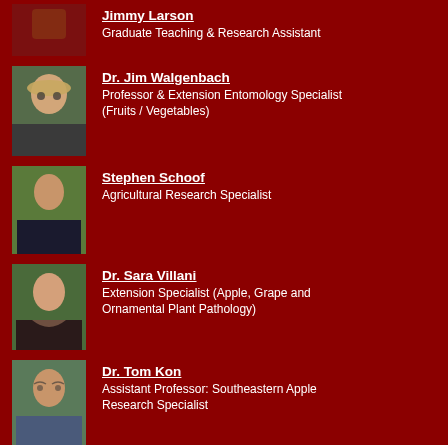Jimmy Larson
Graduate Teaching & Research Assistant
[Figure (photo): Photo of Jimmy Larson - partial view at top of page]
[Figure (photo): Photo of Dr. Jim Walgenbach - man with hat and sunglasses]
Dr. Jim Walgenbach
Professor & Extension Entomology Specialist (Fruits / Vegetables)
[Figure (photo): Photo of Stephen Schoof - young man outdoors]
Stephen Schoof
Agricultural Research Specialist
[Figure (photo): Photo of Dr. Sara Villani - smiling woman]
Dr. Sara Villani
Extension Specialist (Apple, Grape and Ornamental Plant Pathology)
[Figure (photo): Photo of Dr. Tom Kon - man with glasses outdoors]
Dr. Tom Kon
Assistant Professor: Southeastern Apple Research Specialist
About Extension